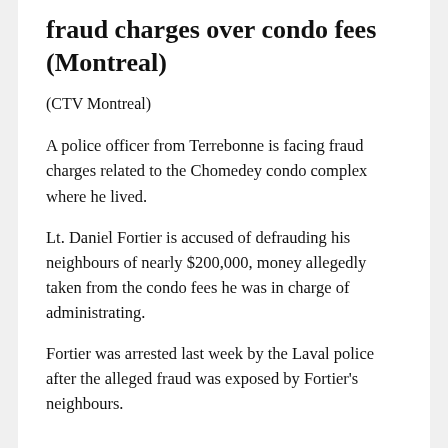fraud charges over condo fees (Montreal)
(CTV Montreal)
A police officer from Terrebonne is facing fraud charges related to the Chomedey condo complex where he lived.
Lt. Daniel Fortier is accused of defrauding his neighbours of nearly $200,000, money allegedly taken from the condo fees he was in charge of administrating.
Fortier was arrested last week by the Laval police after the alleged fraud was exposed by Fortier's neighbours.